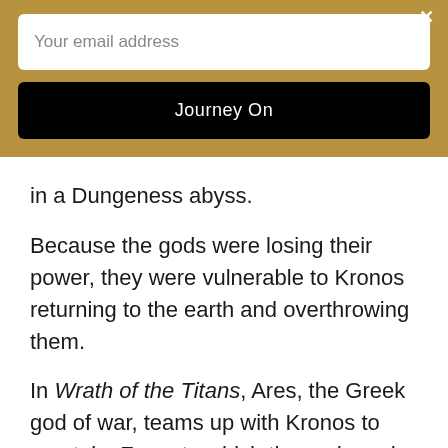[Figure (screenshot): Email signup overlay with gold/tan background, text input field labeled 'Your email address', and a black 'Journey On' button]
in a Dungeness abyss.
Because the gods were losing their power, they were vulnerable to Kronos returning to the earth and overthrowing them.
In Wrath of the Titans, Ares, the Greek god of war, teams up with Kronos to overtake Zeus, to which the gods and Greek heroes must fight back.